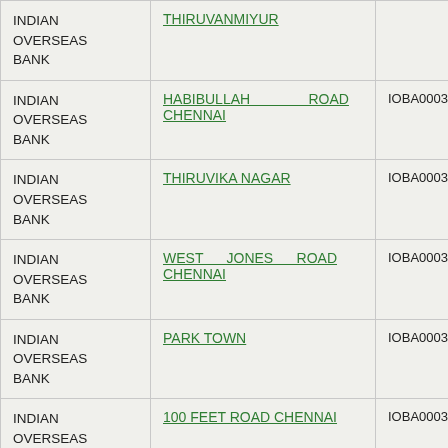| Bank | Branch | IFSC | Status |
| --- | --- | --- | --- |
| INDIAN OVERSEAS BANK | THIRUVANMIYUR |  |  |
| INDIAN OVERSEAS BANK | HABIBULLAH ROAD CHENNAI | IOBA0003291 | WAIT |
| INDIAN OVERSEAS BANK | THIRUVIKA NAGAR | IOBA0003328 | NA |
| INDIAN OVERSEAS BANK | WEST JONES ROAD CHENNAI | IOBA0003334 | WAIT |
| INDIAN OVERSEAS BANK | PARK TOWN | IOBA0003344 | 6000 |
| INDIAN OVERSEAS BANK | 100 FEET ROAD CHENNAI | IOBA0003450 | WAIT |